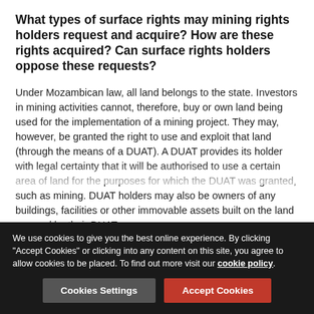What types of surface rights may mining rights holders request and acquire? How are these rights acquired? Can surface rights holders oppose these requests?
Under Mozambican law, all land belongs to the state. Investors in mining activities cannot, therefore, buy or own land being used for the implementation of a mining project. They may, however, be granted the right to use and exploit that land (through the means of a DUAT). A DUAT provides its holder with legal certainty that it will be authorised to use a certain area of land for the purposes for which the DUAT was granted, such as mining. DUAT holders may also be owners of any buildings, facilities or other immovable assets built on the land covered by their DUAT.
When mining rights are granted in relation to an area of land subject to an existing DUAT, the holder of the granted rights
We use cookies to give you the best online experience. By clicking "Accept Cookies" or clicking into any content on this site, you agree to allow cookies to be placed. To find out more visit our cookie policy.